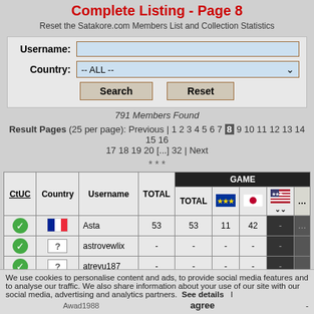Complete Listing - Page 8
Reset the Satakore.com Members List and Collection Statistics
Username: [input field]
Country: -- ALL --
Search  Reset
791 Members Found
Result Pages (25 per page): Previous | 1 2 3 4 5 6 7 8 9 10 11 12 13 14 15 16 17 18 19 20 [...] 32 | Next
* * *
| CtUC | Country | Username | TOTAL | TOTAL | EU | Japan | US | ... |
| --- | --- | --- | --- | --- | --- | --- | --- | --- |
| ✓ | France | Asta | 53 | 53 | 11 | 42 | - |
| ✓ | ? | astrovewlix | - | - | - | - | - |
| ✓ | ? | atreyu187 | - | - | - | - | - |
We use cookies to personalise content and ads, to provide social media features and to analyse our traffic. We also share information about your use of our site with our social media, advertising and analytics partners. See details  I agree